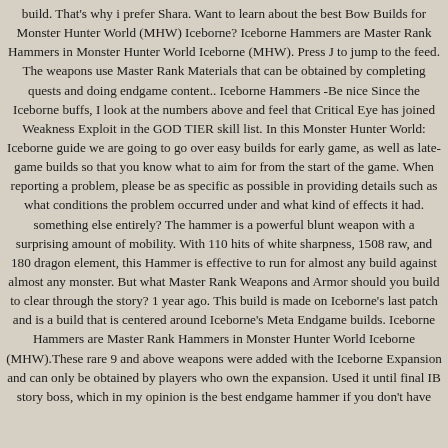build. That's why i prefer Shara. Want to learn about the best Bow Builds for Monster Hunter World (MHW) Iceborne? Iceborne Hammers are Master Rank Hammers in Monster Hunter World Iceborne (MHW). Press J to jump to the feed. The weapons use Master Rank Materials that can be obtained by completing quests and doing endgame content.. Iceborne Hammers -Be nice Since the Iceborne buffs, I look at the numbers above and feel that Critical Eye has joined Weakness Exploit in the GOD TIER skill list. In this Monster Hunter World: Iceborne guide we are going to go over easy builds for early game, as well as late-game builds so that you know what to aim for from the start of the game. When reporting a problem, please be as specific as possible in providing details such as what conditions the problem occurred under and what kind of effects it had. something else entirely? The hammer is a powerful blunt weapon with a surprising amount of mobility. With 110 hits of white sharpness, 1508 raw, and 180 dragon element, this Hammer is effective to run for almost any build against almost any monster. But what Master Rank Weapons and Armor should you build to clear through the story? 1 year ago. This build is made on Iceborne's last patch and is a build that is centered around Iceborne's Meta Endgame builds. Iceborne Hammers are Master Rank Hammers in Monster Hunter World Iceborne (MHW).These rare 9 and above weapons were added with the Iceborne Expansion and can only be obtained by players who own the expansion. Used it until final IB story boss, which in my opinion is the best endgame hammer if you don't have